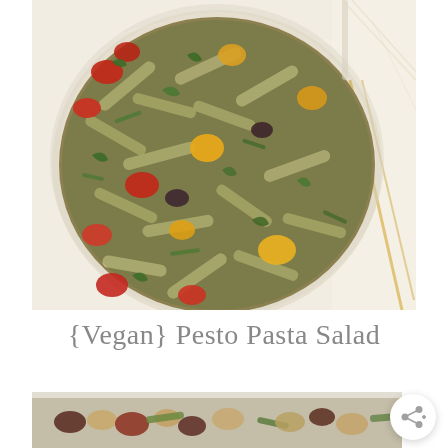[Figure (photo): Overhead close-up photo of a large glass bowl filled with pesto pasta salad featuring gemelli or cavatappi pasta with green pesto sauce, cherry tomatoes (red and yellow), black olives, and fresh herbs/basil. The bowl sits on a white marble surface.]
{Vegan} Pesto Pasta Salad
[Figure (photo): Partial bottom photo showing another pasta or bean salad with dark kidney beans, chickpeas, green vegetables, in a bowl — only the top portion is visible.]